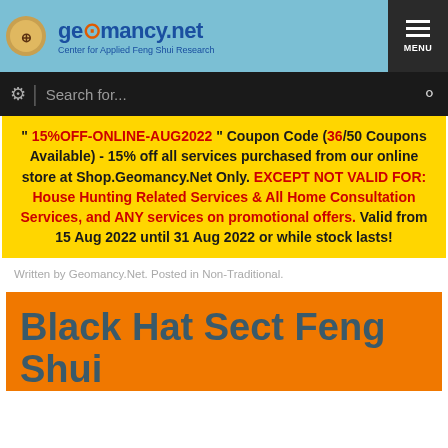geomancy.net - Center for Applied Feng Shui Research
Search for...
" 15%OFF-ONLINE-AUG2022 " Coupon Code (36/50 Coupons Available) - 15% off all services purchased from our online store at Shop.Geomancy.Net Only. EXCEPT NOT VALID FOR: House Hunting Related Services & All Home Consultation Services, and ANY services on promotional offers. Valid from 15 Aug 2022 until 31 Aug 2022 or while stock lasts!
Written by Geomancy.Net. Posted in Non-Traditional.
Black Hat Sect Feng Shui